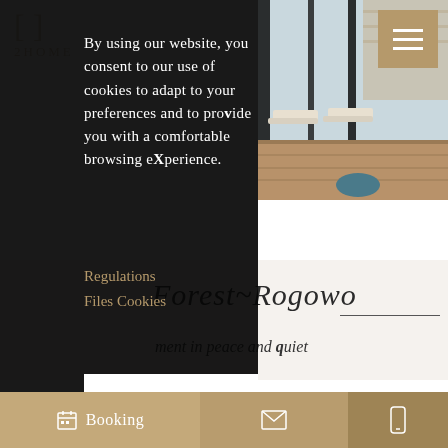2HOME
By using our website, you consent to our use of cookies to adapt to your preferences and to provide you with a comfortable browsing eXperience.
Regulations
Files Cookies
ACCEPT
Forest~Rogowo
ment in peace and quiet
WiFi
Kitchen
Booking